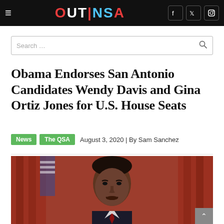OUTINSA
Search …
Obama Endorses San Antonio Candidates Wendy Davis and Gina Ortiz Jones for U.S. House Seats
News   The QSA   August 3, 2020 | By Sam Sanchez
[Figure (photo): Photo of Barack Obama smiling, taken in what appears to be the Oval Office with red curtains and American flag visible in the background]